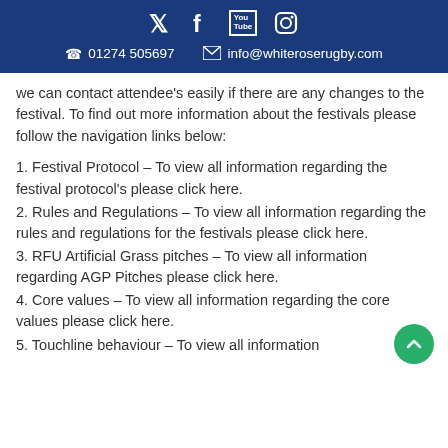Social icons: Twitter, Facebook, YouTube, Instagram | 01274 505697 | info@whiteroserugby.com
we can contact attendee's easily if there are any changes to the festival. To find out more information about the festivals please follow the navigation links below:
1. Festival Protocol – To view all information regarding the festival protocol's please click here.
2. Rules and Regulations – To view all information regarding the rules and regulations for the festivals please click here.
3. RFU Artificial Grass pitches – To view all information regarding AGP Pitches please click here.
4. Core values – To view all information regarding the core values please click here.
5. Touchline behaviour – To view all information regarding touchline behaviour please click here.